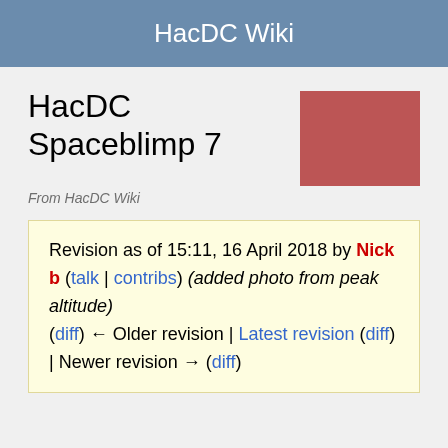HacDC Wiki
HacDC Spaceblimp 7
[Figure (other): Red/brownish-red square placeholder image thumbnail]
From HacDC Wiki
Revision as of 15:11, 16 April 2018 by Nick b (talk | contribs) (added photo from peak altitude) (diff) ← Older revision | Latest revision (diff) | Newer revision → (diff)